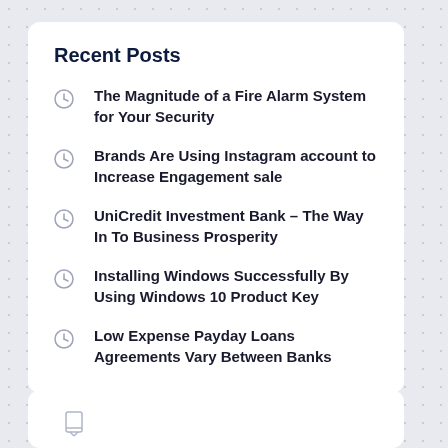Recent Posts
The Magnitude of a Fire Alarm System for Your Security
Brands Are Using Instagram account to Increase Engagement sale
UniCredit Investment Bank – The Way In To Business Prosperity
Installing Windows Successfully By Using Windows 10 Product Key
Low Expense Payday Loans Agreements Vary Between Banks